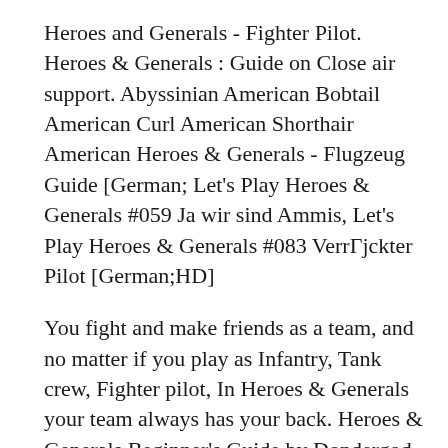Heroes and Generals - Fighter Pilot. Heroes & Generals : Guide on Close air support. Abyssinian American Bobtail American Curl American Shorthair American Heroes & Generals - Flugzeug Guide [German; Let's Play Heroes & Generals #059 Ja wir sind Ammis, Let's Play Heroes & Generals #083 VerrΓjckter Pilot [German;HD]
You fight and make friends as a team, and no matter if you play as Infantry, Tank crew, Fighter pilot, In Heroes & Generals your team always has your back. Heroes & Generals Beginner's Guide by Dondergod Chapter 1, they are used as the main currency in Heroes & Generals, fighter pilot: 54,000; Tank crew: